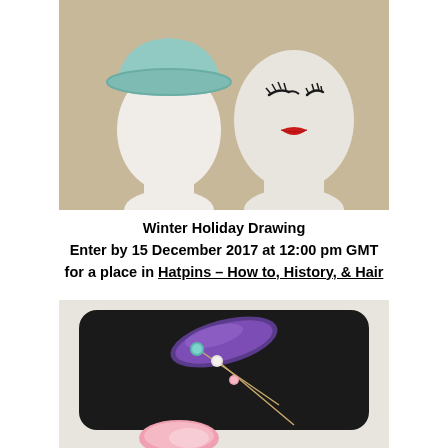[Figure (photo): Two mannequin heads on a light wooden surface. Left mannequin wears a light teal/mint bucket-style hat. Right mannequin has a painted face with dramatic black eyelashes and red lips, wearing no hat.]
Winter Holiday Drawing
Enter by 15 December 2017 at 12:00 pm GMT
for a place in Hatpins – How to, History, & Hair
[Figure (photo): A black velvet hat or hat pillow with hatpins and a purple/blue decorative element. Several hatpins with round decorative tops (teal, white, pink) are visible. A pink flower or decorative element is at the bottom.]